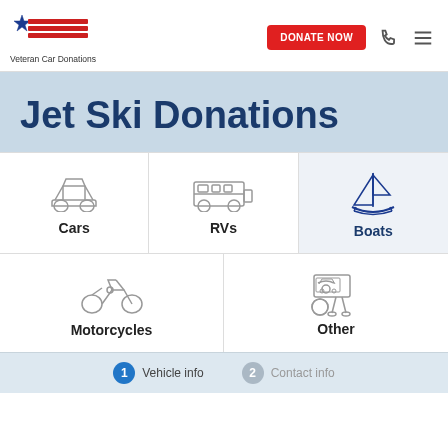[Figure (logo): Veteran Car Donations logo with star and red stripes]
Veteran Car Donations
DONATE NOW
Jet Ski Donations
Cars
RVs
Boats
Motorcycles
Other
Vehicle info
Contact info